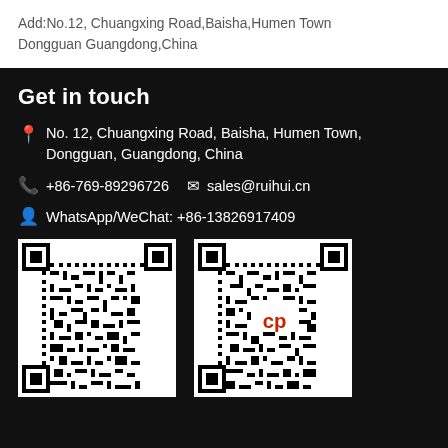Add:No.12, Chuangxing Road,Baisha,Humen Town Dongguan Guangdong,China
Get in touch
No. 12, Chuangxing Road, Baisha, Humen Town, Dongguan, Guangdong, China
+86-769-89296726   sales@ruihui.cn
WhatsApp/WeChat: +86-13826917409
[Figure (other): QR code (left)]
[Figure (other): QR code (right) with logo in center]